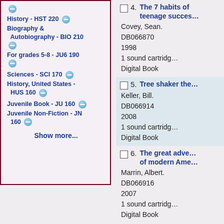History - HST 220
Biography & Autobiography - BIO 210
For grades 5-8 - JU6 190
Sciences - SCI 170
History, United States - HUS 160
Juvenile Book - JU 160
Juvenile Non-Fiction - JN 160
Show more...
4. The 7 habits of teenage success — Covey, Sean. DB066870 1998 1 sound cartridge Digital Book
5. Tree shaker the — Keller, Bill. DB066914 2008 1 sound cartridge Digital Book
6. The great adventure of modern America — Marrin, Albert. DB066916 2007 1 sound cartridge Digital Book